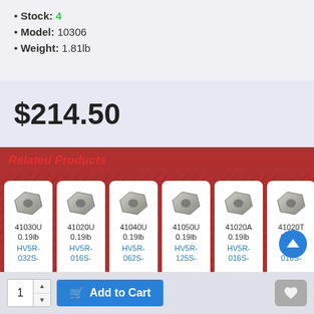Stock: 4
Model: 10306
Weight: 1.81lb
$214.50
Related Products
[Figure (photo): Carbide insert product image for 41030U, 0.19lb, HV5R-032S-]
[Figure (photo): Carbide insert product image for 41020U, 0.19lb, HV5R-016S-]
[Figure (photo): Carbide insert product image for 41040U, 0.19lb, HV5R-062S-]
[Figure (photo): Carbide insert product image for 41050U, 0.19lb, HV5R-125S-]
[Figure (photo): Carbide insert product image for 41020A, 0.19lb, HV5R-016S-]
[Figure (photo): Carbide insert product image for 41020T, 0.19lb, HV5R-016S-]
1  Add to Cart